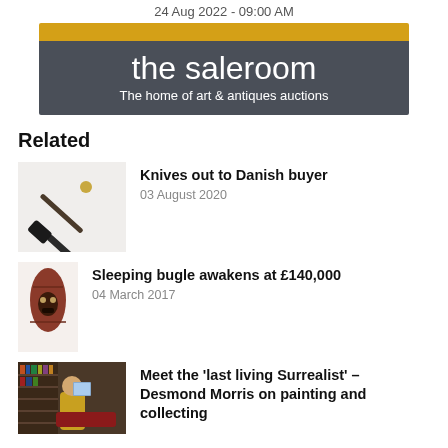24 Aug 2022 - 09:00 AM
[Figure (logo): The saleroom logo banner with gold stripe on top, dark grey background, white text reading 'the saleroom' and subtitle 'The home of art & antiques auctions']
Related
[Figure (photo): Photo of knives/daggers against white background]
Knives out to Danish buyer
03 August 2020
[Figure (photo): Photo of a decorative bugle or horn instrument]
Sleeping bugle awakens at £140,000
04 March 2017
[Figure (photo): Photo of Desmond Morris in a room with paintings and collectibles]
Meet the 'last living Surrealist' – Desmond Morris on painting and collecting